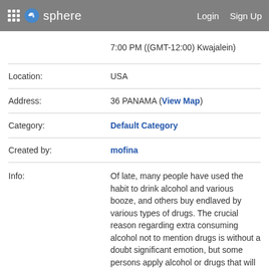sphere   Login   Sign Up
7:00 PM ((GMT-12:00) Kwajalein)
| Location: | USA |
| Address: | 36 PANAMA (View Map) |
| Category: | Default Category |
| Created by: | mofina |
| Info: | Of late, many people have used the habit to drink alcohol and various booze, and others buy endlaved by various types of drugs. The crucial reason regarding extra consuming alcohol not to mention drugs is without a doubt significant emotion, but some persons apply alcohol or drugs that will feel relaxed. At any time when persons buy in love with drugs and therefore alcohol, that turns into a quite challenging issue if you are to get rid of |